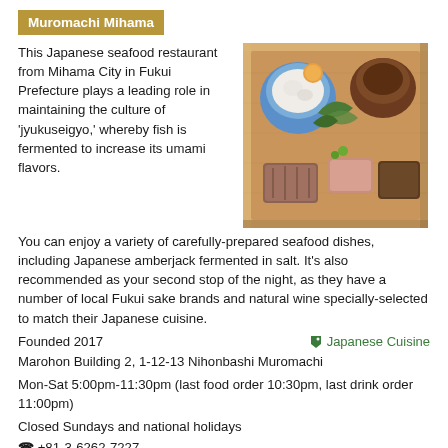Muromachi Mihama
[Figure (photo): Overhead photo of a Japanese wooden serving tray with multiple small dishes of seafood and garnishes, including a blue bowl with white cream, a round brown vessel, and various prepared seafood items with green leaves.]
This Japanese seafood restaurant from Mihama City in Fukui Prefecture plays a leading role in maintaining the culture of 'jyukuseigyo,' whereby fish is fermented to increase its umami flavors. You can enjoy a variety of carefully-prepared seafood dishes, including Japanese amberjack fermented in salt. It's also recommended as your second stop of the night, as they have a number of local Fukui sake brands and natural wine specially-selected to match their Japanese cuisine.
Founded 2017
Japanese Cuisine
Marohon Building 2, 1-12-13 Nihonbashi Muromachi
Mon-Sat 5:00pm-11:30pm (last food order 10:30pm, last drink order 11:00pm)
Closed Sundays and national holidays
☎ +81-3-6262-7227